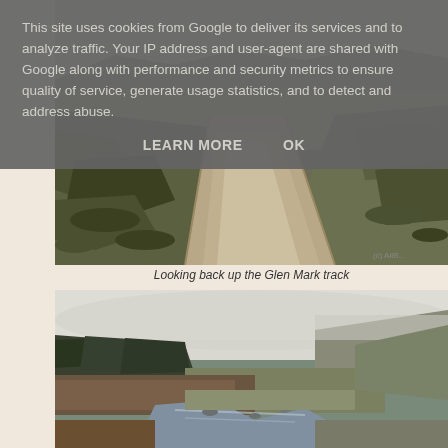This site uses cookies from Google to deliver its services and to analyze traffic. Your IP address and user-agent are shared with Google along with performance and security metrics to ensure quality of service, generate usage statistics, and to detect and address abuse.
LEARN MORE   OK
[Figure (photo): A gravel track winding through moorland grassland, viewed looking back up the Glen Mark track. The path curves into the distance with rough grassy verges on either side.]
Looking back up the Glen Mark track
[Figure (photo): A valley landscape scene with hills and mountains partially obscured by low cloud and mist. Green conifer trees on lower slopes, open moorland with a small stream in the foreground.]